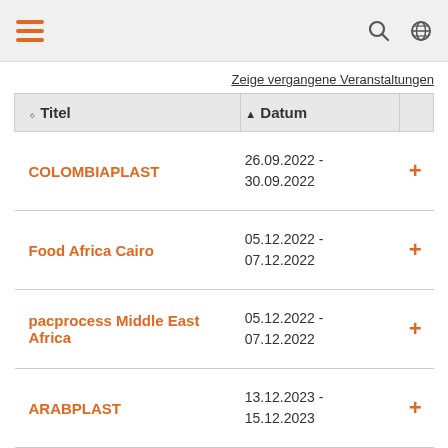Navigation bar with hamburger menu and search/globe icons
Zeige vergangene Veranstaltungen
| Titel | Datum |
| --- | --- |
| COLOMBIAPLAST | 26.09.2022 - 30.09.2022 |
| Food Africa Cairo | 05.12.2022 - 07.12.2022 |
| pacprocess Middle East Africa | 05.12.2022 - 07.12.2022 |
| ARABPLAST | 13.12.2023 - 15.12.2023 |
Vergangene Veranstaltungen